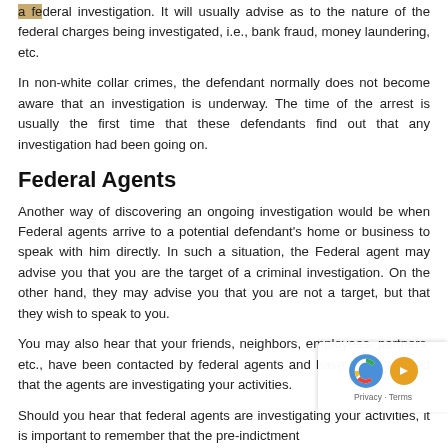a federal investigation. It will usually advise as to the nature of the federal charges being investigated, i.e., bank fraud, money laundering, etc.
In non-white collar crimes, the defendant normally does not become aware that an investigation is underway. The time of the arrest is usually the first time that these defendants find out that any investigation had been going on.
Federal Agents
Another way of discovering an ongoing investigation would be when Federal agents arrive to a potential defendant's home or business to speak with him directly. In such a situation, the Federal agent may advise you that you are the target of a criminal investigation. On the other hand, they may advise you that you are not a target, but that they wish to speak to you.
You may also hear that your friends, neighbors, employees, partners, etc., have been contacted by federal agents and have been advised that the agents are investigating your activities.
Should you hear that federal agents are investigating your activities, it is important to remember that the pre-indictment